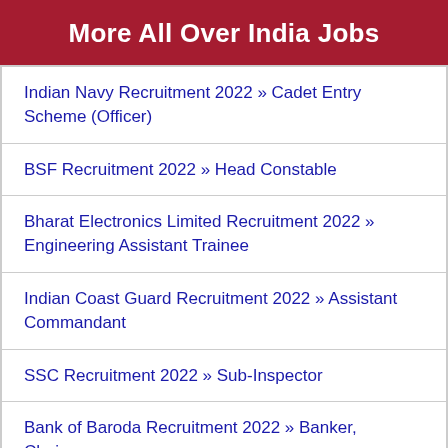More All Over India Jobs
Indian Navy Recruitment 2022 » Cadet Entry Scheme (Officer)
BSF Recruitment 2022 » Head Constable
Bharat Electronics Limited Recruitment 2022 » Engineering Assistant Trainee
Indian Coast Guard Recruitment 2022 » Assistant Commandant
SSC Recruitment 2022 » Sub-Inspector
Bank of Baroda Recruitment 2022 » Banker, Chairperson
Reserve Bank Finance Recruitment 2022 » Gr...